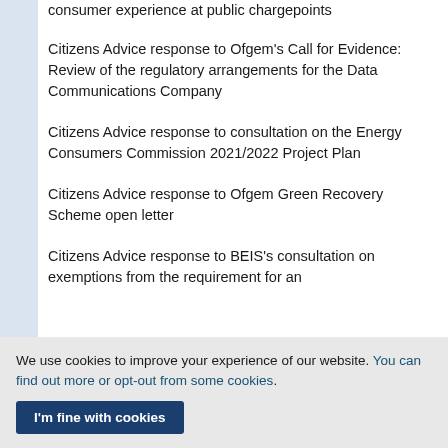consumer experience at public chargepoints
Citizens Advice response to Ofgem’s Call for Evidence: Review of the regulatory arrangements for the Data Communications Company
Citizens Advice response to consultation on the Energy Consumers Commission 2021/2022 Project Plan
Citizens Advice response to Ofgem Green Recovery Scheme open letter
Citizens Advice response to BEIS’s consultation on exemptions from the requirement for an
We use cookies to improve your experience of our website. You can find out more or opt-out from some cookies.